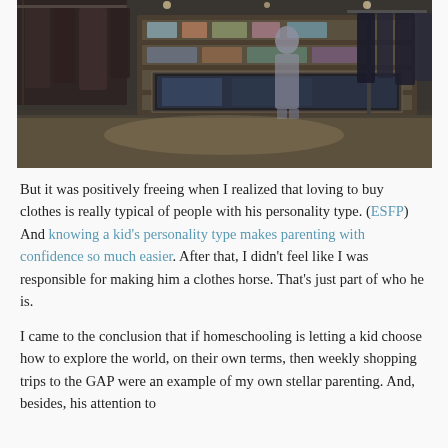[Figure (photo): Interior of a retail clothing store with shelves of merchandise, display cases, clothing racks on the right side, and a person standing near the counter in the background. Dark, moody lighting with concrete floors.]
But it was positively freeing when I realized that loving to buy clothes is really typical of people with his personality type. (ESFP) And knowing a kid's personality type makes parenting with confidence so much easier. After that, I didn't feel like I was responsible for making him a clothes horse. That's just part of who he is.
I came to the conclusion that if homeschooling is letting a kid choose how to explore the world, on their own terms, then weekly shopping trips to the GAP were an example of my own stellar parenting. And, besides, his attention to